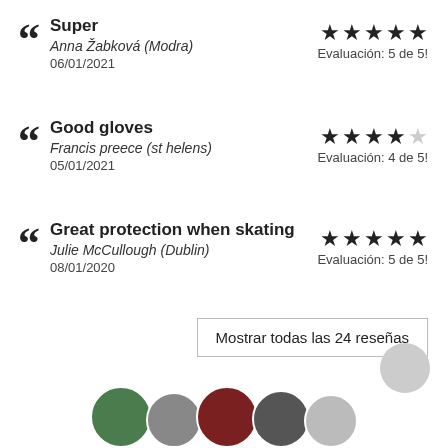Super
Anna Žabková (Modra)
06/01/2021
Evaluación: 5 de 5!
Good gloves
Francis preece (st helens)
05/01/2021
Evaluación: 4 de 5!
Great protection when skating
Julie McCullough (Dublin)
08/01/2020
Evaluación: 5 de 5!
Mostrar todas las 24 reseñas
[Figure (photo): Row of user avatar circles at bottom of page]